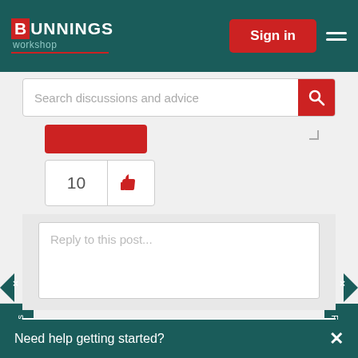[Figure (screenshot): Bunnings Workshop website navigation bar with logo, Sign in button, and hamburger menu]
Search discussions and advice
[Figure (screenshot): Partial red reply button]
[Figure (screenshot): Like counter showing 10 with thumbs up icon]
Reply to this post...
Yorky88
Becoming a Leader
Need help getting started?